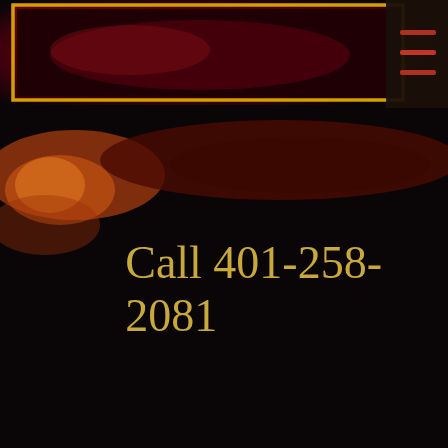[Figure (photo): Dark red and black background with glowing amber/gold neon-like border rectangle in the upper portion, with warm orange-red light blobs in the lower half. A hamburger menu icon visible in dark box at top right corner.]
Call 401-258-2081